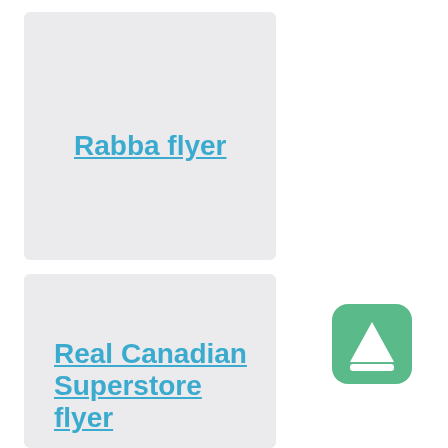[Figure (screenshot): Card with link text 'Rabba flyer' in blue underlined bold text on light grey background]
[Figure (screenshot): Card with link text 'Real Canadian Superstore flyer' in blue underlined bold text on light grey background]
[Figure (logo): Green rounded square icon with white upward-pointing triangle/arrow shape]